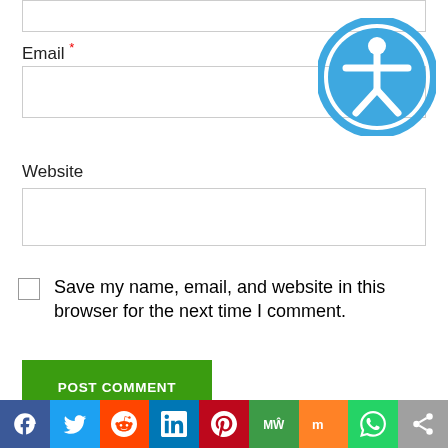Email *
Website
Save my name, email, and website in this browser for the next time I comment.
POST COMMENT
[Figure (logo): Accessibility icon — blue circle with white person/human figure silhouette with arms outstretched]
Voip Alarm For Your Hotel
Learn How To Set A Wake-Up Call For Any Guest Of Your Hotel In A Few Clicks With
Build Your Email Subscriber Lists Today
For Written For You Email Affiliate
[Figure (other): Social share bar with icons: Facebook (blue), Twitter (light blue), Reddit (orange-red), LinkedIn (blue), Pinterest (dark red), MeWe (green), Mix (orange), WhatsApp (green), Share (gray)]